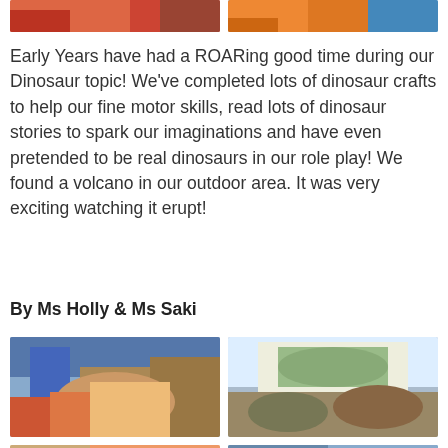[Figure (photo): Two cropped photos at top of page showing classroom/children scenes]
Early Years have had a ROARing good time during our Dinosaur topic! We've completed lots of dinosaur crafts to help our fine motor skills, read lots of dinosaur stories to spark our imaginations and have even pretended to be real dinosaurs in our role play! We found a volcano in our outdoor area. It was very exciting watching it erupt!
By Ms Holly & Ms Saki
[Figure (photo): Child sitting on blue mat playing with colorful dinosaur toy/puzzle]
[Figure (photo): Children gathered around a light table looking at something together]
[Figure (photo): Children at a table doing a craft activity]
[Figure (photo): Child sitting against blue wall]